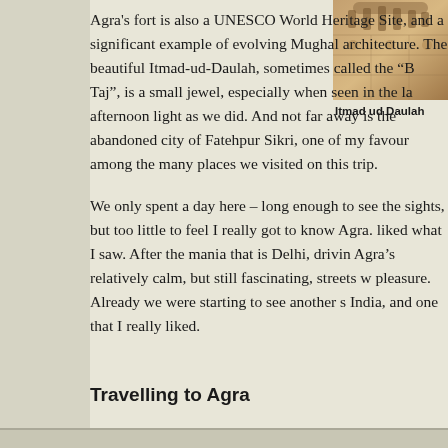[Figure (photo): Stone architectural detail of Itmad ud Daulah, showing carved stonework and decorative elements]
Itmad ud Daulah
Agra's fort is also a UNESCO World Heritage Site, and a significant example of evolving Mughal architecture. The beautiful Itmad-ud-Daulah, sometimes called the "Baby Taj", is a small jewel, especially when seen in the late afternoon light as we did. And not far away is the abandoned city of Fatehpur Sikri, one of my favourite among the many places we visited on this trip.
We only spent a day here – long enough to see the sights, but too little to feel I really got to know Agra. I liked what I saw. After the mania that is Delhi, driving Agra's relatively calm, but still fascinating, streets was a pleasure. Already we were starting to see another side of India, and one that I really liked.
Travelling to Agra